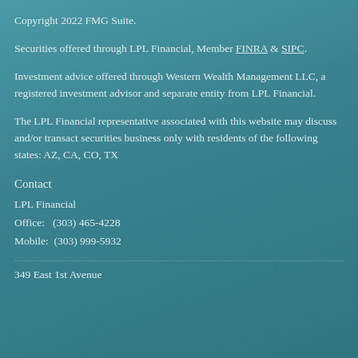Copyright 2022 FMG Suite.
Securities offered through LPL Financial, Member FINRA & SIPC.
Investment advice offered through Western Wealth Management LLC, a registered investment advisor and separate entity from LPL Financial.
The LPL Financial representative associated with this website may discuss and/or transact securities business only with residents of the following states: AZ, CA, CO, TX
Contact
LPL Financial
Office:   (303) 465-4228
Mobile:  (303) 999-5932
349 East 1st Avenue